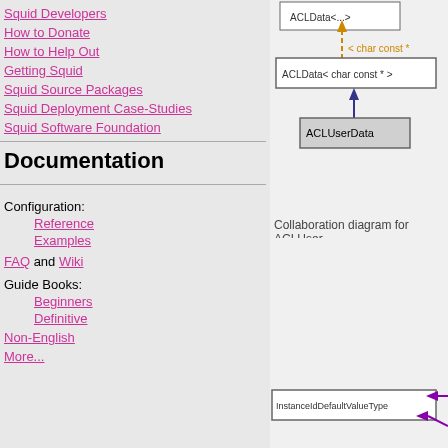Squid Developers
How to Donate
How to Help Out
Getting Squid
Squid Source Packages
Squid Deployment Case-Studies
Squid Software Foundation
Documentation
Configuration:
Reference
Examples
FAQ and Wiki
Guide Books:
Beginners
Definitive
Non-English
More...
[Figure (engineering-diagram): Inheritance diagram showing ACLData< char const * > class with a dashed orange arrow pointing up and text '< char const *', and ACLUserData class with a solid dark blue arrow pointing up to ACLData< char const * >. ACLUserData box is gray-shaded.]
Collaboration diagram for ACLUser...
[Figure (engineering-diagram): Collaboration diagram (partial) showing InstanceIdDefaultValueType box with purple arrows pointing to it from the right/bottom.]